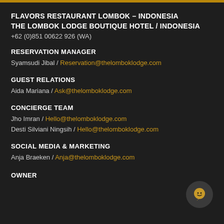FLAVORS RESTAURANT LOMBOK – INDONESIA
THE LOMBOK LODGE BOUTIQUE HOTEL / INDONESIA
+62 (0)851 00622 926 (WA)
RESERVATION MANAGER
Syamsudi Jibal / Reservation@thelomboklodge.com
GUEST RELATIONS
Aida Mariana / Ask@thelomboklodge.com
CONCIERGE TEAM
Jho Imran / Hello@thelomboklodge.com
Desti Silviani Ningsih / Hello@thelomboklodge.com
SOCIAL MEDIA & MARKETING
Anja Braeken / Anja@thelomboklodge.com
OWNER
[Figure (illustration): Chat bubble icon, dark grey circular background with orange speech bubble icon]